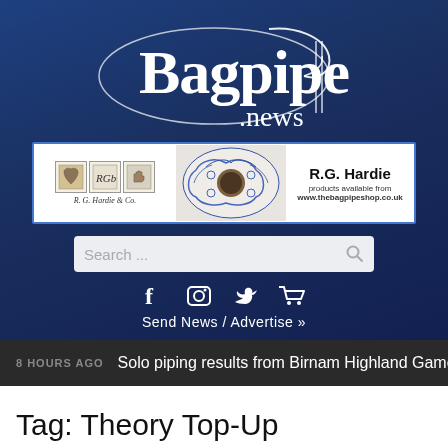[Figure (logo): Bagpipe.news logo in white on dark blue background with decorative swirl]
[Figure (photo): R.G. Hardie advertisement banner showing bagpipe drone top/cap with blue floral pattern, company logos and website www.thebagpipeshop.co.uk]
Search ...
Send News / Advertise »
8 HOURS AGO  Solo piping results from Birnam Highland Games
Tag: Theory Top-Up